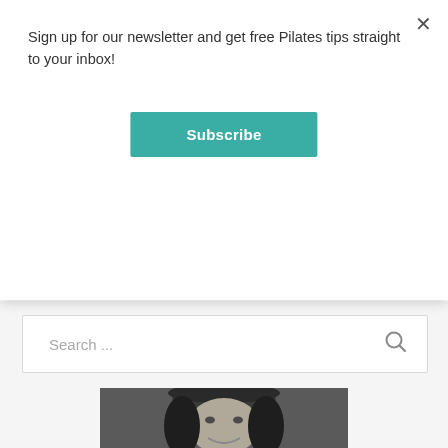Sign up for our newsletter and get free Pilates tips straight to your inbox!
Subscribe
Search ...
[Figure (photo): Black and white headshot portrait of a smiling woman with dark hair and bangs]